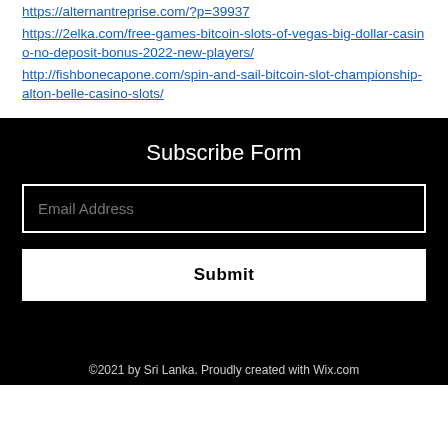https://alternantreprise.com/?p=39937
https://2elka.com/free-games-bitcoin-slots-of-vegas-big-dollar-casino-no-deposit-bonus-2022-new-players/
http://fishbonecapone.com/spin-and-sail-bitcoin-slot-championship-alton-belle-casino-slots/
Subscribe Form
Email Address
Submit
©2021 by Sri Lanka. Proudly created with Wix.com